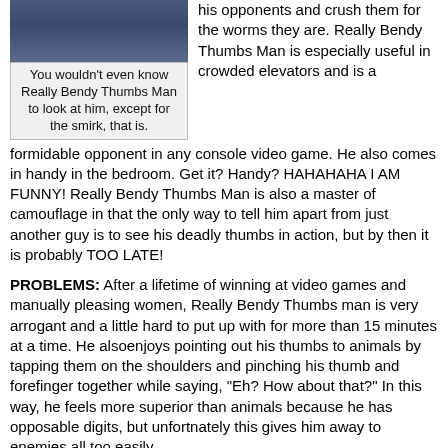[Figure (photo): Photo of a person, appears dark/blue toned, showing someone in what seems to be a dark outfit]
You wouldn't even know Really Bendy Thumbs Man to look at him, except for the smirk, that is.
his opponents and crush them for the worms they are. Really Bendy Thumbs Man is especially useful in crowded elevators and is a formidable opponent in any console video game. He also comes in handy in the bedroom. Get it? Handy? HAHAHAHA I AM FUNNY! Really Bendy Thumbs Man is also a master of camouflage in that the only way to tell him apart from just another guy is to see his deadly thumbs in action, but by then it is probably TOO LATE!
PROBLEMS: After a lifetime of winning at video games and manually pleasing women, Really Bendy Thumbs man is very arrogant and a little hard to put up with for more than 15 minutes at a time. He alsoenjoys pointing out his thumbs to animals by tapping them on the shoulders and pinching his thumb and forefinger together while saying, "Eh? How about that?" In this way, he feels more superior than animals because he has opposable digits, but unfortnately this gives him away to enemies all too easily.
SUPER POWER: His thumbs! They are bendy!